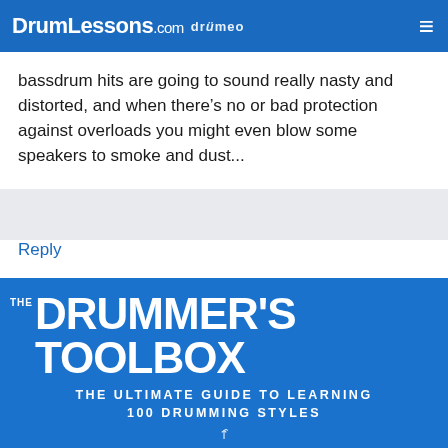DrumLessons.com drumeo
bassdrum hits are going to sound really nasty and distorted, and when there's no or bad protection against overloads you might even blow some speakers to smoke and dust...
Reply
[Figure (infographic): Blue promotional banner reading 'THE DRUMMER'S TOOLBOX — THE ULTIMATE GUIDE TO LEARNING 100 DRUMMING STYLES' with a partial image of a book/product below]